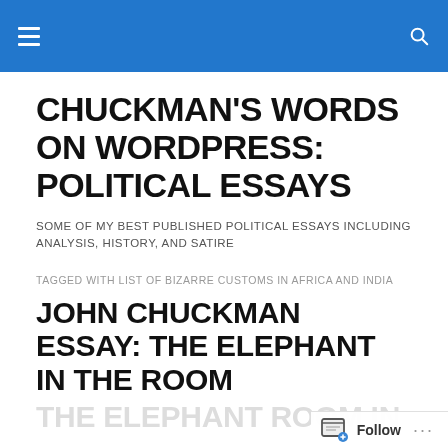Chuckman's Words on WordPress: Political Essays
CHUCKMAN'S WORDS ON WORDPRESS: POLITICAL ESSAYS
SOME OF MY BEST PUBLISHED POLITICAL ESSAYS INCLUDING ANALYSIS, HISTORY, AND SATIRE
TAGGED WITH LIST OF BIZARRE CUSTOMS IN AFRICA AND INDIA
JOHN CHUCKMAN ESSAY: THE ELEPHANT IN THE ROOM